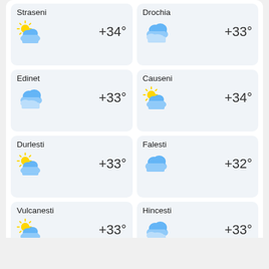Straseni +34°
Drochia +33°
Edinet +33°
Causeni +34°
Durlesti +33°
Falesti +32°
Vulcanesti +33°
Hincesti +33°
ALL CITIES